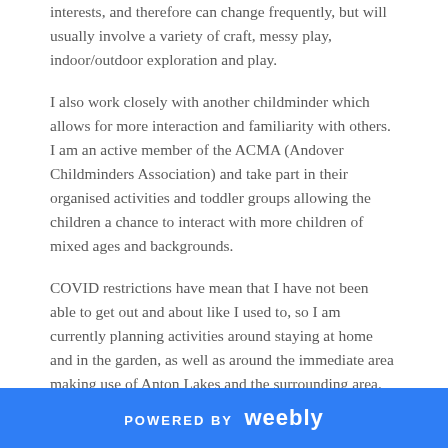interests, and therefore can change frequently, but will usually involve a variety of craft, messy play, indoor/outdoor exploration and play.
I also work closely with another childminder which allows for more interaction and familiarity with others. I am an active member of the ACMA (Andover Childminders Association) and take part in their organised activities and toddler groups allowing the children a chance to interact with more children of mixed ages and backgrounds.
COVID restrictions have mean that I have not been able to get out and about like I used to, so I am currently planning activities around staying at home and in the garden, as well as around the immediate area making use of Anton Lakes and the surrounding area. The house and toys are cleaned routinely during the week and thoroughly cleaned at the end of the week. As things start to open up again I will return to normal routines as quickly as I feel it is safe to do so for myself and the children in my car.
POWERED BY weebly